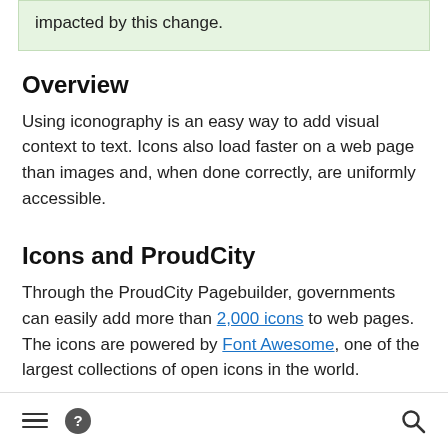impacted by this change.
Overview
Using iconography is an easy way to add visual context to text. Icons also load faster on a web page than images and, when done correctly, are uniformly accessible.
Icons and ProudCity
Through the ProudCity Pagebuilder, governments can easily add more than 2,000 icons to web pages. The icons are powered by Font Awesome, one of the largest collections of open icons in the world.
≡ ? 🔍